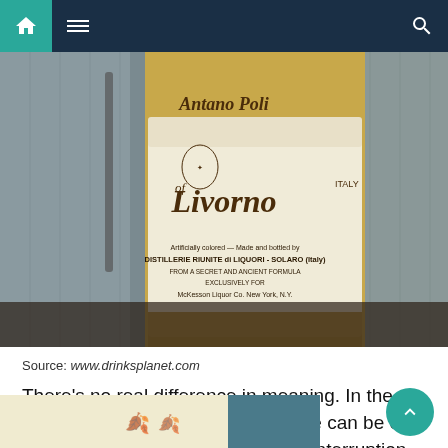[Figure (screenshot): Navigation bar with home icon (teal), hamburger menu (dark navy), and search icon (dark navy)]
[Figure (photo): Close-up photo of a vintage liqueur bottle label reading 'of Livorno' with text 'Artificially colored - Made and bottled by DISTILLERIE RIUNITE di LIQUORI - SOLARO (Italy) FROM A SECRET AND ANCIENT FORMULA EXCLUSIVELY FOR McKesson Liquor Co. New York, N.Y.']
Source: www.drinksplanet.com
There's no real difference in meaning. In the mean time, please let us know if we can be of any assistance during this service interruption.
[Figure (photo): Bottom partial photo showing items on a light yellow background with a blue/teal container on right]